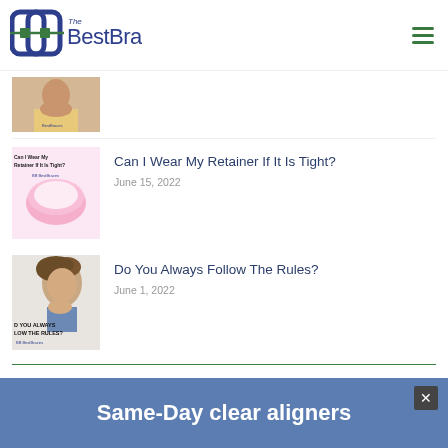[Figure (logo): The BestBraces logo with stylized BB icon and green orthodontic wire]
[Figure (photo): Partial thumbnail of a smiling woman, first blog post image]
[Figure (photo): Thumbnail image for 'Can I Wear My Retainer If It Is Tight?' showing a pink retainer]
Can I Wear My Retainer If It Is Tight?
June 15, 2022
[Figure (photo): Thumbnail image for 'Do You Always Follow The Rules?' showing a man thinking]
Do You Always Follow The Rules?
June 1, 2022
Same-Day clear aligners